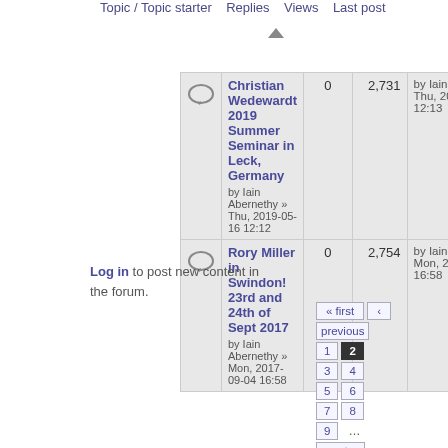Topic / Topic starter  Replies  Views  Last post
|  | Topic / Topic starter | Replies | Views | Last post |
| --- | --- | --- | --- | --- |
|  | Christian Wedewardt 2019 Summer Seminar in Leck, Germany
by Iain Abernethy » Thu, 2019-05-16 12:12 | 0 | 2,731 | by Iain Abernethy
Thu, 2019-05-16 12:13 |
|  | Rory Miller in Swindon! 23rd and 24th of Sept 2017
by Iain Abernethy » Mon, 2017-09-04 16:58 | 0 | 2,754 | by Iain Abernethy
Mon, 2017-09-04 16:58 |
Log in to post new content in the forum.
« first
‹ previous
1
2
3
4
5
6
7
8
9
...
next ›
last »